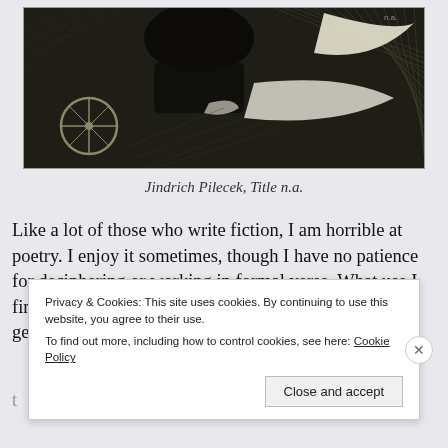[Figure (illustration): Black and white etching/print by Jindrich Pilecek, showing dark abstract figures, a wheel on the left side, and white leaf or wing-like shapes against a dark background with hatching lines.]
Jindrich Pilecek, Title n.a.
Like a lot of those who write fiction, I am horrible at poetry. I enjoy it sometimes, though I have no patience for deciphering or working in formal verse. What use I find in writing poetry is mainly from forcing oneself to generate imagery and stitch t[ogether...]
Privacy & Cookies: This site uses cookies. By continuing to use this website, you agree to their use.
To find out more, including how to control cookies, see here: Cookie Policy
[Close and accept]